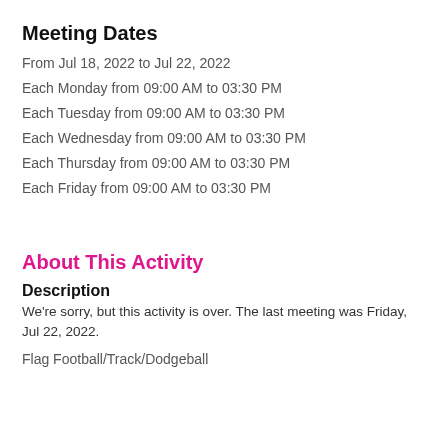Meeting Dates
From Jul 18, 2022 to Jul 22, 2022
Each Monday from 09:00 AM to 03:30 PM
Each Tuesday from 09:00 AM to 03:30 PM
Each Wednesday from 09:00 AM to 03:30 PM
Each Thursday from 09:00 AM to 03:30 PM
Each Friday from 09:00 AM to 03:30 PM
About This Activity
Description
We're sorry, but this activity is over. The last meeting was Friday, Jul 22, 2022.
Flag Football/Track/Dodgeball